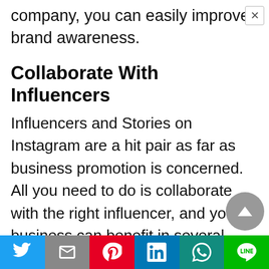company, you can easily improve brand awareness.
Collaborate With Influencers
Influencers and Stories on Instagram are a hit pair as far as business promotion is concerned. All you need to do is collaborate with the right influencer, and your business can benefit in several ways.
Such collaboration can mean new engagement and new exposure for your business. It can also